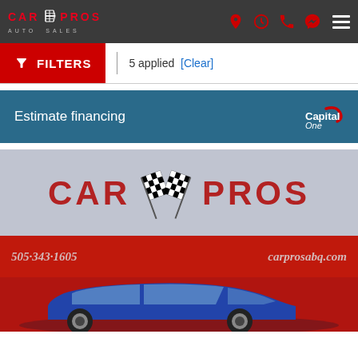CAR PROS AUTO SALES
FILTERS | 5 applied [Clear]
Estimate financing — Capital One
[Figure (photo): Car Pros Auto Sales dealership sign showing 'CAR PROS' with checkered flags logo, phone number 505-343-1605 and website carprosabq.com, with a blue sedan parked in front of the red wall]